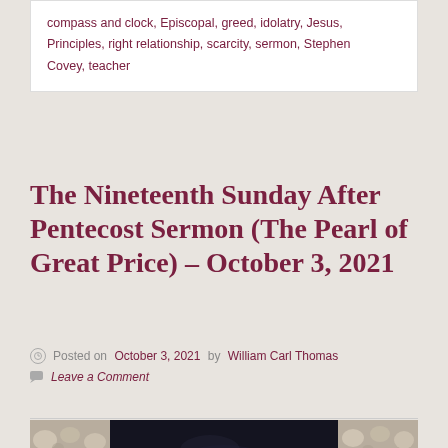compass and clock, Episcopal, greed, idolatry, Jesus, Principles, right relationship, scarcity, sermon, Stephen Covey, teacher
The Nineteenth Sunday After Pentecost Sermon (The Pearl of Great Price) – October 3, 2021
Posted on October 3, 2021 by William Carl Thomas
Leave a Comment
[Figure (photo): A photo showing oyster shells surrounding a dark center panel, forming a composite image related to the sermon topic about the Pearl of Great Price.]